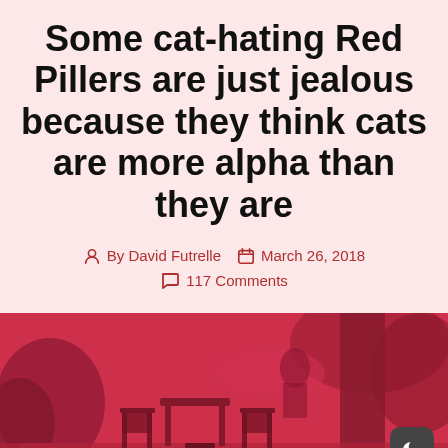Some cat-hating Red Pillers are just jealous because they think cats are more alpha than they are
By David Futrelle   March 26, 2018   117 Comments
[Figure (photo): Outdoor scene with red/pink color filter overlay showing a patio area with wooden chairs and tables, plants, a pillar/column on the right side, and a car visible in the background. A dark mode toggle button (moon icon) is visible in the bottom right corner.]